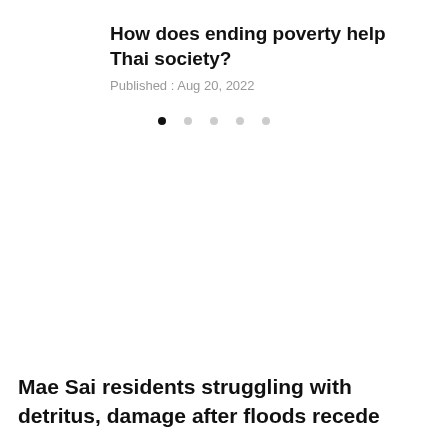How does ending poverty help Thai society?
Published : Aug 20, 2022
Mae Sai residents struggling with detritus, damage after floods recede